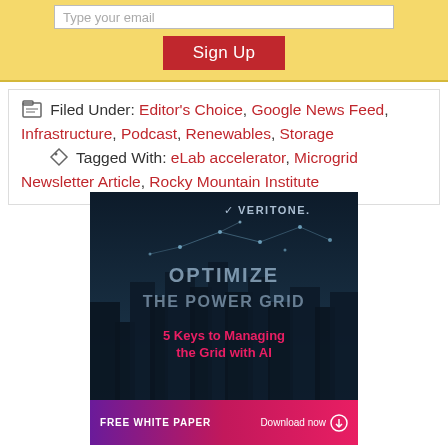Type your email [input field]
Sign Up [button]
Filed Under: Editor's Choice, Google News Feed, Infrastructure, Podcast, Renewables, Storage
Tagged With: eLab accelerator, Microgrid Newsletter Article, Rocky Mountain Institute
[Figure (illustration): Veritone advertisement showing a dark city skyline with glowing network lines. Text: OPTIMIZE THE POWER GRID / 5 Keys to Managing the Grid with AI. Footer: FREE WHITE PAPER Download now.]